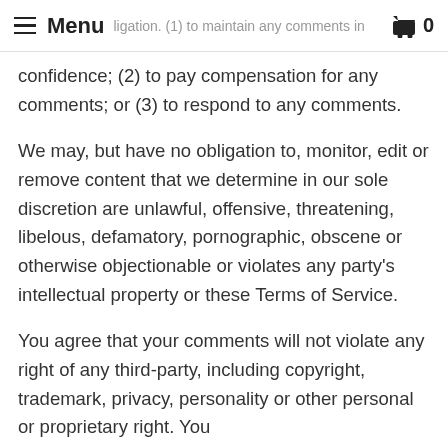Menu  0
obligation to maintain any comments in confidence; (2) to pay compensation for any comments; or (3) to respond to any comments.
We may, but have no obligation to, monitor, edit or remove content that we determine in our sole discretion are unlawful, offensive, threatening, libelous, defamatory, pornographic, obscene or otherwise objectionable or violates any party's intellectual property or these Terms of Service.
You agree that your comments will not violate any right of any third-party, including copyright, trademark, privacy, personality or other personal or proprietary right. You